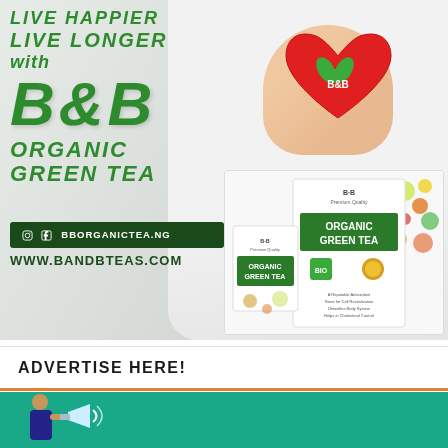[Figure (illustration): B&B Organic Green Tea advertisement. Top section shows a doctor in white coat holding a red heart with B&B logo. Left side has green italic text: LIVE HAPPIER / LIVE LONGER / with / B&B / ORGANIC GREEN TEA. Social media bar with BBORGANICTEA.NG and website WWW.BANDBTEAS.COM. Product box image on right. Bottom left section reads ADVERTISE HERE! with orange divider line and teal banner below.]
LIVE HAPPIER LIVE LONGER with B&B ORGANIC GREEN TEA
BBORGANICTEA.NG
WWW.BANDBTEAS.COM
ADVERTISE HERE!